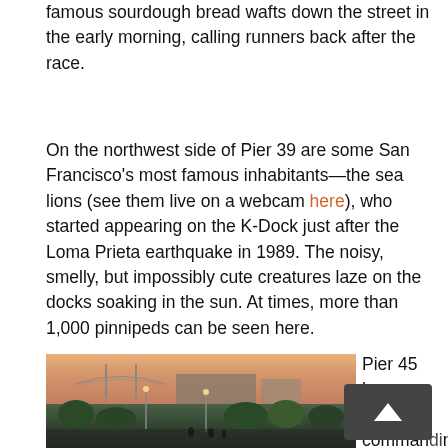famous sourdough bread wafts down the street in the early morning, calling runners back after the race.
On the northwest side of Pier 39 are some San Francisco's most famous inhabitants—the sea lions (see them live on a webcam here), who started appearing on the K-Dock just after the Loma Prieta earthquake in 1989. The noisy, smelly, but impossibly cute creatures laze on the docks soaking in the sun. At times, more than 1,000 pinnipeds can be seen here.
[Figure (photo): Street-level evening/dusk photo of San Francisco waterfront area with Bay Bridge visible in background, street lights on, trees lining the road, people visible on street.]
Pier 45 houses the commanding USS Pampanito, a restored World War II